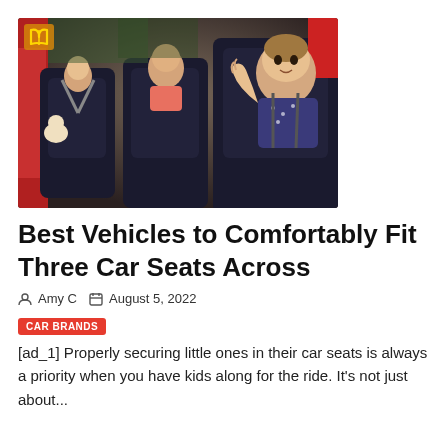[Figure (photo): Three children in car seats inside a vehicle, viewed from outside through window. Children are secured in dark colored car seats. One child in foreground in purple outfit with hand raised.]
Best Vehicles to Comfortably Fit Three Car Seats Across
Amy C  August 5, 2022
CAR BRANDS
[ad_1] Properly securing little ones in their car seats is always a priority when you have kids along for the ride. It's not just about...